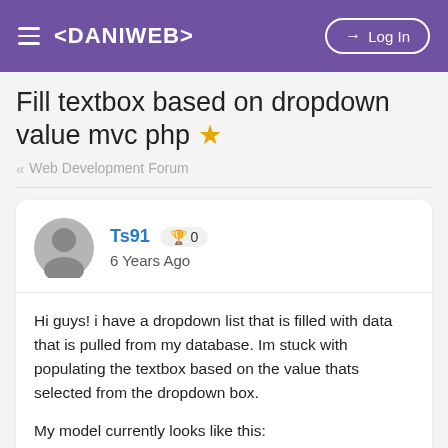≡ <DANIWEB>   → Log In
Fill textbox based on dropdown value mvc php ★
« Web Development Forum
Ts91  🏆 0
6 Years Ago
Hi guys! i have a dropdown list that is filled with data that is pulled from my database. Im stuck with populating the textbox based on the value thats selected from the dropdown box.

My model currently looks like this: